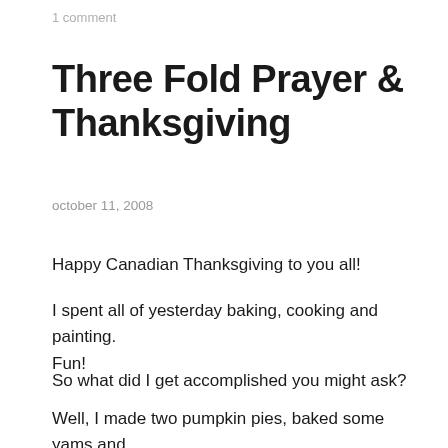1 comment
Three Fold Prayer & Thanksgiving
october 11, 2008
Happy Canadian Thanksgiving to you all!
I spent all of yesterday baking, cooking and painting. Fun!
So what did I get accomplished you might ask?
Well, I made two pumpkin pies, baked some yams and made stuffing.
Oh and I also finished the watercolor on the “Three Fold Prayer” series.